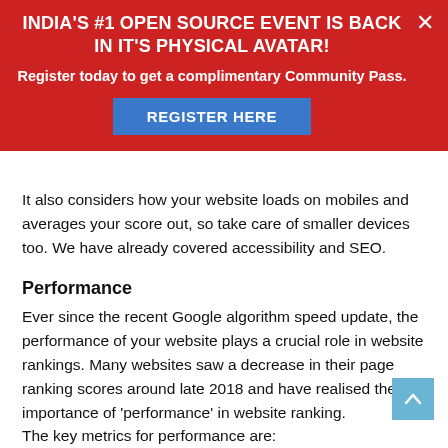[Figure (infographic): Red promotional banner with white bold text reading INDIA'S #1 OPEN SOURCE EVENT IS BACK IN IT'S PHYSICAL AVATAR! and a blue REGISTER HERE button, with a close X in top right.]
It also considers how your website loads on mobiles and averages your score out, so take care of smaller devices too. We have already covered accessibility and SEO.
Performance
Ever since the recent Google algorithm speed update, the performance of your website plays a crucial role in website rankings. Many websites saw a decrease in their page ranking scores around late 2018 and have realised the importance of 'performance' in website ranking.
The key metrics for performance are: